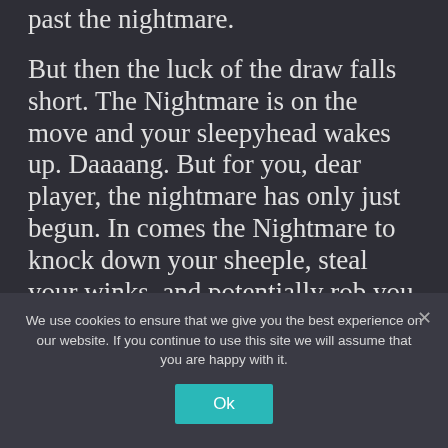past the nightmare.
But then the luck of the draw falls short. The Nightmare is on the move and your sleepyhead wakes up. Daaaang. But for you, dear player, the nightmare has only just begun. In comes the Nightmare to knock down your sheeple, steal your winks, and potentially rob you of your chance to be the dreamiest sheep of them all! You should have called it a night last time around. But you didn't. You pushed. You crashed and burned. You wish you could
We use cookies to ensure that we give you the best experience on our website. If you continue to use this site we will assume that you are happy with it.
Ok